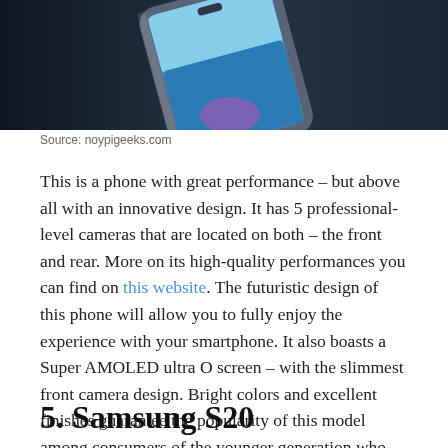[Figure (photo): Top portion of a Samsung smartphone shown at an angle against a dark background, displaying a coastal/beach scene on its screen.]
Source: noypigeeks.com
This is a phone with great performance – but above all with an innovative design. It has 5 professional-level cameras that are located on both – the front and rear. More on its high-quality performances you can find on this website. The futuristic design of this phone will allow you to fully enjoy the experience with your smartphone. It also boasts a Super AMOLED ultra O screen – with the slimmest front camera design. Bright colors and excellent finishes guarantee the popularity of this model among consumers of the younger generation who have style.
5. Samsung S20